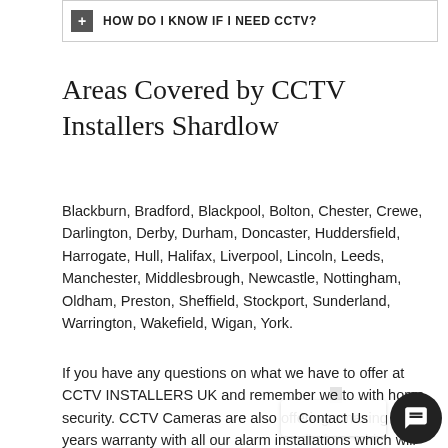HOW DO I KNOW IF I NEED CCTV?
Areas Covered by CCTV Installers Shardlow
Blackburn, Bradford, Blackpool, Bolton, Chester, Crewe, Darlington, Derby, Durham, Doncaster, Huddersfield, Harrogate, Hull, Halifax, Liverpool, Lincoln, Leeds, Manchester, Middlesbrough, Newcastle, Nottingham, Oldham, Preston, Sheffield, Stockport, Sunderland, Warrington, Wakefield, Wigan, York.
If you have any questions on what we have to offer at CCTV INSTALLERS UK and remember we will come to with home security. CCTV Cameras are also offering amazing 2 years warranty with all our alarm installations which will give you peace of mind.